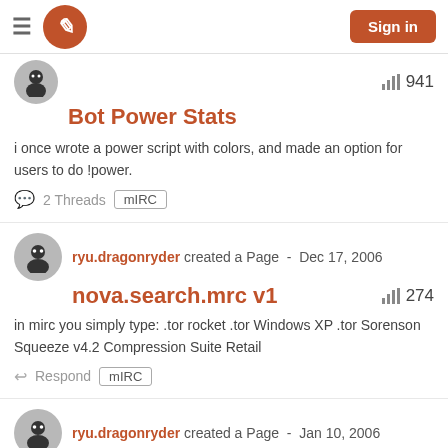Sign in
Bot Power Stats
i once wrote a power script with colors, and made an option for users to do !power.
2 Threads   mIRC
ryu.dragonryder created a Page - Dec 17, 2006
nova.search.mrc v1
in mirc you simply type: .tor rocket .tor Windows XP .tor Sorenson Squeeze v4.2 Compression Suite Retail
Respond   mIRC
ryu.dragonryder created a Page - Jan 10, 2006
341